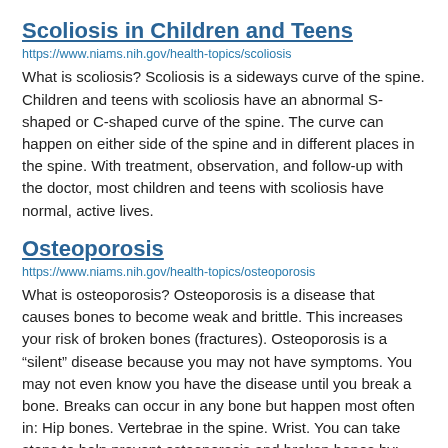Scoliosis in Children and Teens
https://www.niams.nih.gov/health-topics/scoliosis
What is scoliosis? Scoliosis is a sideways curve of the spine. Children and teens with scoliosis have an abnormal S-shaped or C-shaped curve of the spine. The curve can happen on either side of the spine and in different places in the spine. With treatment, observation, and follow-up with the doctor, most children and teens with scoliosis have normal, active lives.
Osteoporosis
https://www.niams.nih.gov/health-topics/osteoporosis
What is osteoporosis? Osteoporosis is a disease that causes bones to become weak and brittle. This increases your risk of broken bones (fractures). Osteoporosis is a “silent” disease because you may not have symptoms. You may not even know you have the disease until you break a bone. Breaks can occur in any bone but happen most often in: Hip bones. Vertebrae in the spine. Wrist. You can take steps to help prevent osteoporosis and broken bones by: Doing weight-bearing exercises, such as walking or dancing, and lifting weights. Not drinking too much alcohol. Quitting smoking, or not starting if